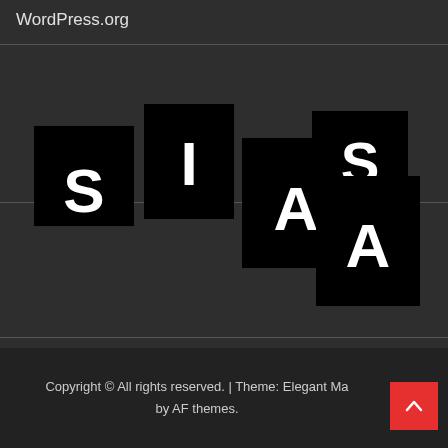WordPress.org
[Figure (logo): SIASA logo composed of black tiles with white letters S, I, A, S, A arranged in a staggered layout on a dark background]
Copyright © All rights reserved. | Theme: Elegant Ma... by AF themes.